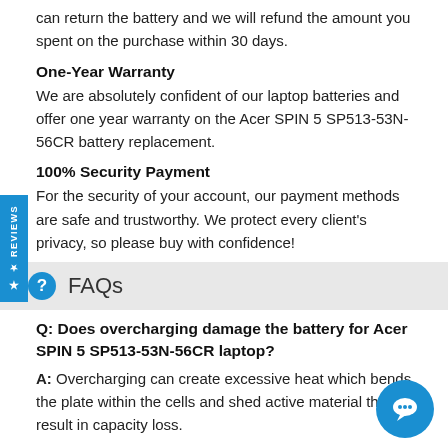can return the battery and we will refund the amount you spent on the purchase within 30 days.
One-Year Warranty
We are absolutely confident of our laptop batteries and offer one year warranty on the Acer SPIN 5 SP513-53N-56CR battery replacement.
100% Security Payment
For the security of your account, our payment methods are safe and trustworthy. We protect every client's privacy, so please buy with confidence!
FAQs
Q: Does overcharging damage the battery for Acer SPIN 5 SP513-53N-56CR laptop?
A: Overcharging can create excessive heat which bends the plate within the cells and shed active material then result in capacity loss.